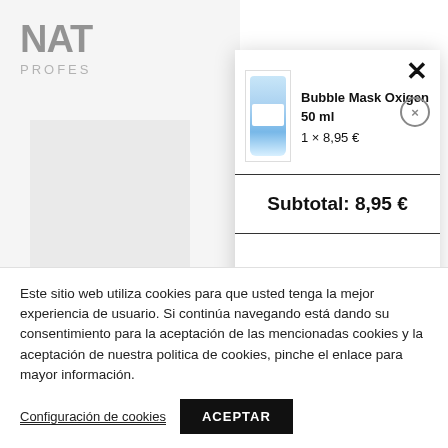[Figure (screenshot): Background of a professional cosmetics website showing partial logo 'NAT' with 'PROFES' subtitle, a gray product area, and text 'Mascarilla Activo 75']
Bubble Mask Oxigen
50 ml
1 × 8,95 €
Subtotal: 8,95 €
Este sitio web utiliza cookies para que usted tenga la mejor experiencia de usuario. Si continúa navegando está dando su consentimiento para la aceptación de las mencionadas cookies y la aceptación de nuestra politica de cookies, pinche el enlace para mayor información.
Configuración de cookies
ACEPTAR